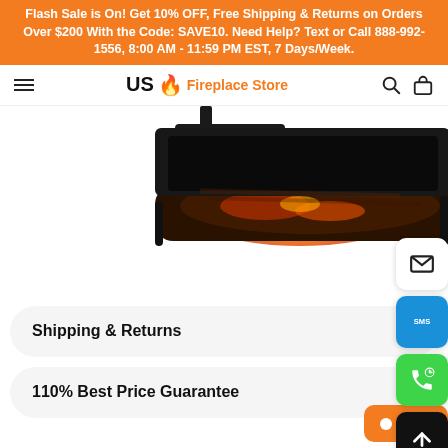Flash Sale is On! Get 10% OFF, Free Shipping & Returns on Orders Over $200 With the Code: SAVE10. Need Help? Text or Call 888-992-1556, 8:00 AM - 11:59 PM EST, 7 Days/Week.
US Fireplace Store
[Figure (photo): Electric fireplace insert with glowing embers and log set displayed against a white background, partially cropped showing bottom portion of the unit.]
Shipping & Returns
110% Best Price Guarantee